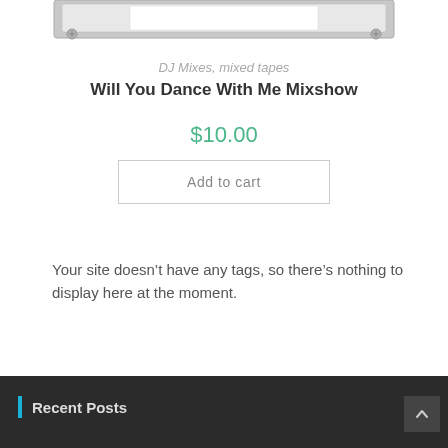[Figure (illustration): Partial cassette tape graphic — bottom portion of a metallic cassette player/tape image showing the lower edge with screws visible]
DJ Mixes, mixed tapes
Will You Dance With Me Mixshow
$10.00
Add to cart
Your site doesn't have any tags, so there's nothing to display here at the moment.
Recent Posts